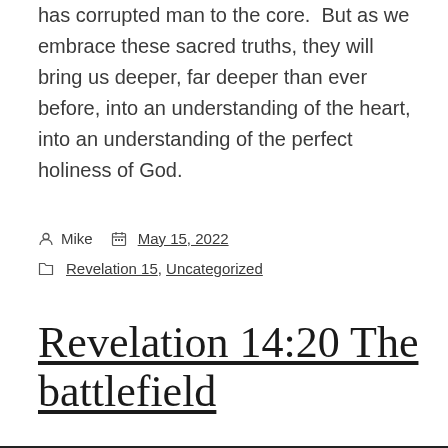has corrupted man to the core.  But as we embrace these sacred truths, they will bring us deeper, far deeper than ever before, into an understanding of the heart, into an understanding of the perfect holiness of God.
Mike  May 15, 2022
Revelation 15, Uncategorized
Revelation 14:20 The battlefield